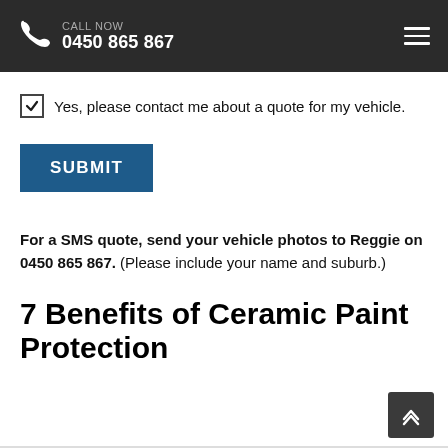CALL NOW 0450 865 867
☑ Yes, please contact me about a quote for my vehicle.
SUBMIT
For a SMS quote, send your vehicle photos to Reggie on 0450 865 867. (Please include your name and suburb.)
7 Benefits of Ceramic Paint Protection